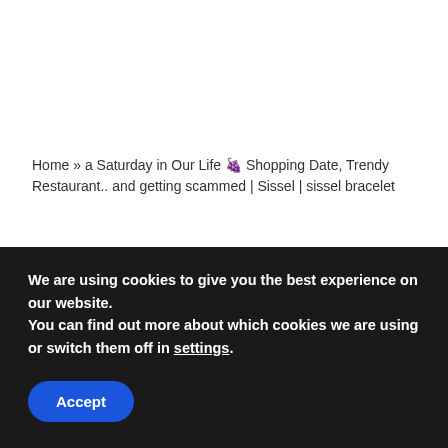Home » a Saturday in Our Life 🍇 Shopping Date, Trendy Restaurant.. and getting scammed | Sissel | sissel bracelet
a Saturday in Our Life 🍇 Shopping Date,
We are using cookies to give you the best experience on our website.
You can find out more about which cookies we are using or switch them off in settings.
Accept